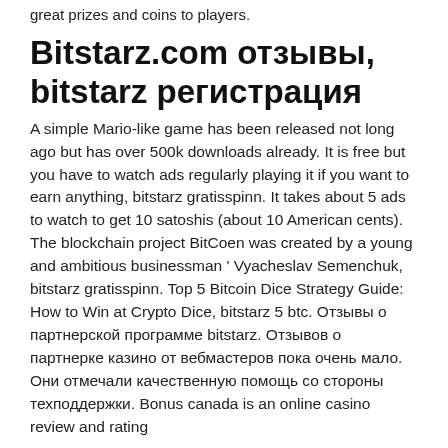great prizes and coins to players.
Bitstarz.com отзывы, bitstarz регистрация
A simple Mario-like game has been released not long ago but has over 500k downloads already. It is free but you have to watch ads regularly playing it if you want to earn anything, bitstarz gratisspinn. It takes about 5 ads to watch to get 10 satoshis (about 10 American cents). The blockchain project BitCoen was created by a young and ambitious businessman ' Vyacheslav Semenchuk, bitstarz gratisspinn. Top 5 Bitcoin Dice Strategy Guide: How to Win at Crypto Dice, bitstarz 5 btc. Отзывы о партнерской программе bitstarz. Отзывов о партнерке казино от вебмастеров пока очень мало. Они отмечали качественную помощь со стороны техподдержки. Bonus canada is an online casino review and rating